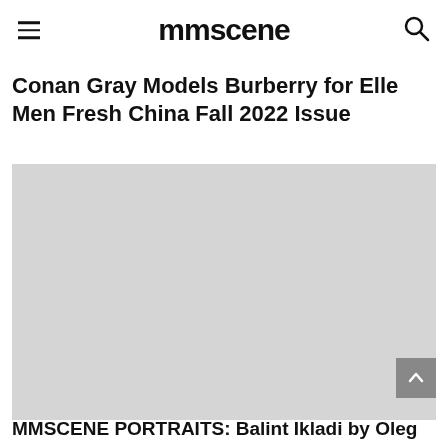mmscene
Conan Gray Models Burberry for Elle Men Fresh China Fall 2022 Issue
[Figure (photo): Main article image placeholder — light gray rectangular photo area]
MMSCENE PORTRAITS: Balint Ikladi by Oleg